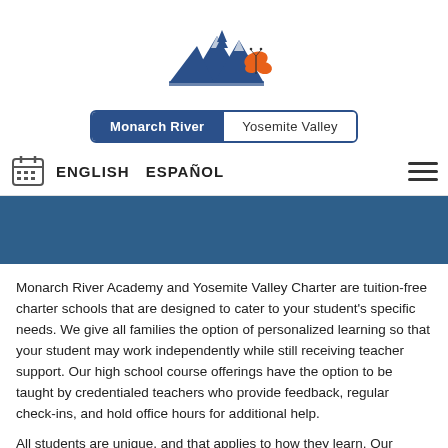[Figure (logo): Monarch River Academy / Yosemite Valley Charter school logo featuring blue mountains with pine trees and an orange butterfly]
Monarch River | Yosemite Valley
ENGLISH  ESPAÑOL
[Figure (photo): Blue banner section]
Monarch River Academy and Yosemite Valley Charter are tuition-free charter schools that are designed to cater to your student's specific needs. We give all families the option of personalized learning so that your student may work independently while still receiving teacher support. Our high school course offerings have the option to be taught by credentialed teachers who provide feedback, regular check-ins, and hold office hours for additional help.
All students are unique, and that applies to how they learn. Our